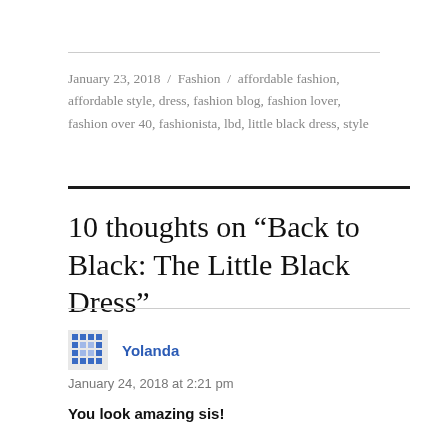January 23, 2018 / Fashion / affordable fashion, affordable style, dress, fashion blog, fashion lover, fashion over 40, fashionista, lbd, little black dress, style
10 thoughts on “Back to Black: The Little Black Dress”
Yolanda
January 24, 2018 at 2:21 pm
You look amazing sis!